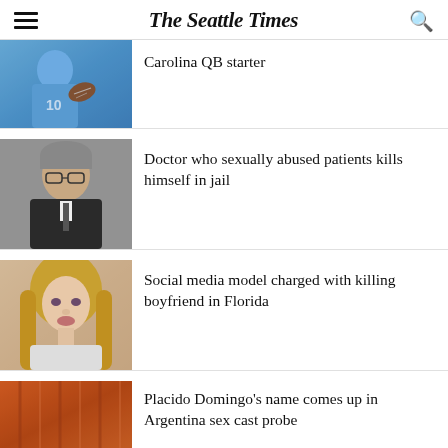The Seattle Times
[Figure (photo): Football player in Carolina blue uniform (#10) holding ball, partially cropped at top]
Carolina QB starter
[Figure (photo): Middle-aged man with glasses in a dark suit, looking at camera]
Doctor who sexually abused patients kills himself in jail
[Figure (photo): Young blonde woman looking at camera]
Social media model charged with killing boyfriend in Florida
[Figure (photo): Red/orange curtain, partially visible at bottom]
Placido Domingo's name comes up in Argentina sex cast probe